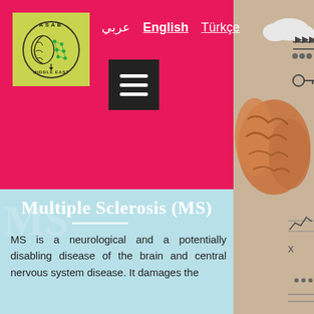[Figure (logo): ASAB Middle East circular logo with brain and neural network on olive/yellow-green background]
عربي   English   Türkçe
[Figure (illustration): Hamburger menu icon (three horizontal lines) on dark background]
Multiple Sclerosis (MS)
MS is a neurological and a potentially disabling disease of the brain and central nervous system disease. It damages the
[Figure (illustration): Illustrated brain with mechanical/circuit diagram elements on a tan/beige background — right side panel]